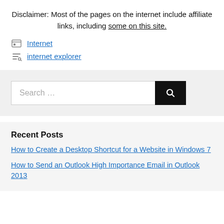Disclaimer: Most of the pages on the internet include affiliate links, including some on this site.
Internet
internet explorer
Search …
Recent Posts
How to Create a Desktop Shortcut for a Website in Windows 7
How to Send an Outlook High Importance Email in Outlook 2013